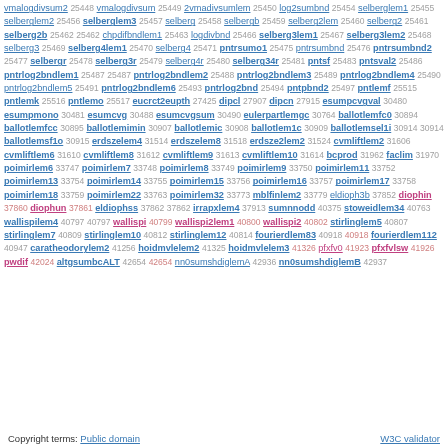vmalogdivsum2 25448 vmalogdivsum 25449 2vmadivsumlem 25450 log2sumbnd 25454 selberglem1 25455 selberglem2 25456 selberglem3 25457 selberg 25458 selbergb 25459 selberg2lem 25460 selberg2 25461 selberg2b 25462 chpdifbndlem1 25463 logdivbnd 25466 selberg3lem1 25467 selberg3lem2 25468 selberg3 25469 selberg4lem1 25470 selberg4 25471 pntrsumo1 25475 pntrsumbnd 25476 pntrsumbnd2 25477 selbergr 25478 selberg3r 25479 selberg4r 25480 selberg34r 25481 pntsf 25483 pntsval2 25486 pntrlog2bndlem1 25487 pntrlog2bndlem2 25488 pntrlog2bndlem3 25489 pntrlog2bndlem4 25490 pntrlog2bndlem5 25491 pntrlog2bndlem6 25493 pntrlog2bnd 25494 pntpbnd2 25497 pntlemf 25515 pntlemk 25516 pntlemo 25517 eucrct2eupth 27425 dipcl 27907 dipcn 27915 esumpcvgval 30480 esumpmono 30481 esumcvg 30488 esumcvgsum 30490 eulerpartlemgc 30764 ballotlemfc0 30894 ballotlemfcc 30895 ballotlemimin 30907 ballotlemic 30908 ballotlem1c 30909 ballotlemsel1i 30914 ballotlemsf1o 30915 erdszelem4 31514 erdszelem8 31518 erdsze2lem2 31524 cvmliftlem2 31606 cvmliftlem6 31610 cvmliftlem8 31612 cvmliftlem9 31613 cvmliftlem10 31614 bcprod 31962 faclim 31970 poimirlem6 33747 poimirlem7 33748 poimirlem8 33749 poimirlem9 33750 poimirlem11 33752 poimirlem13 33754 poimirlem14 33755 poimirlem15 33756 poimirlem16 33757 poimirlem17 33758 poimirlem18 33759 poimirlem22 33763 poimirlem32 33773 mblfinlem2 33779 eldioph3b 37852 diophin 37860 diophun 37861 eldiophss 37862 irrapxlem4 37913 sumnnodd 40375 stoweidlem34 40763 wallispilem4 40797 wallispi 40799 wallispi2lem1 40800 wallispi2 40802 stirlinglem5 40807 stirlinglem7 40809 stirlinglem10 40812 stirlinglem12 40814 fourierdlem83 40918 fourierdlem112 40947 caratheodorylem2 41256 hoidmvlelem2 41325 hoidmvlelem3 41326 pfxfv0 41923 pfxfvlsw 41926 pwdif 42024 altgsumbcALT 42654 nn0sumshdiglemA 42936 nn0sumshdiglemB 42937
Copyright terms: Public domain   W3C validator